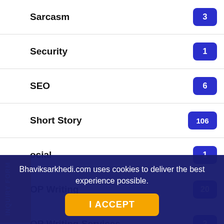Sarcasm — 3
Security — 1
SEO — 6
Short Story — 106
Social — 1
SOP Writing — 20
SOP Writing Services — 2
Soul Soup — 1
Startup — 2
Technology — 3
TED — 1
INQUIRY FORM
Bhaviksarkhedi.com uses cookies to deliver the best experience possible.
I ACCEPT